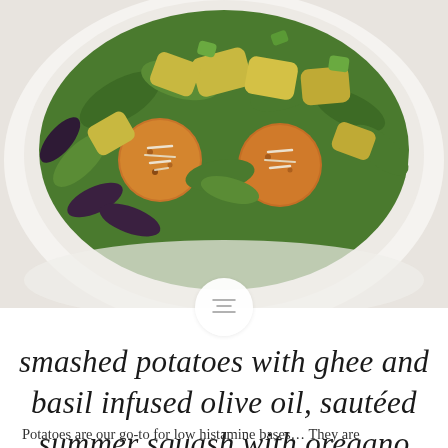[Figure (photo): Overhead photo of a white bowl containing smashed potatoes topped with shredded cheese, surrounded by mixed greens, herbs, and sautéed summer squash pieces]
smashed potatoes with ghee and basil infused olive oil, sautéed summer squash with oregano
Potatoes are our go-to for low histamine bases... They are